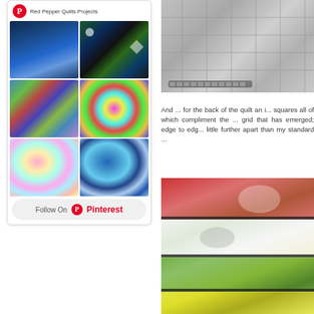[Figure (screenshot): Pinterest widget showing Red Pepper Quilts Projects with 6 quilt images in a 2x3 grid and a Follow On Pinterest button]
[Figure (photo): Gray quilted fabric with grid pattern and zipper detail]
And ... for the back of the quilt an i... squares all of which compliment the ... grid that has emerged; edge to edg... little further apart than my standard ...
[Figure (photo): Stack of colorful quilts with animal/character prints in red, green, yellow, white]